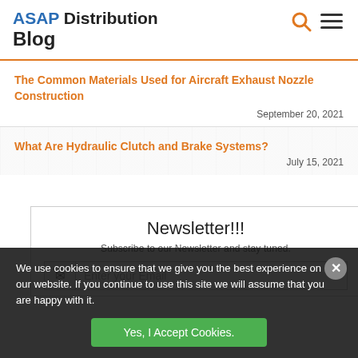ASAP Distribution Blog
The Common Materials Used for Aircraft Exhaust Nozzle Construction
September 20, 2021
What Are Hydraulic Clutch and Brake Systems?
July 15, 2021
Newsletter!!!
Subscribe to our Newsletter and stay tuned.
Enter your Email
We use cookies to ensure that we give you the best experience on our website. If you continue to use this site we will assume that you are happy with it.
Yes, I Accept Cookies.